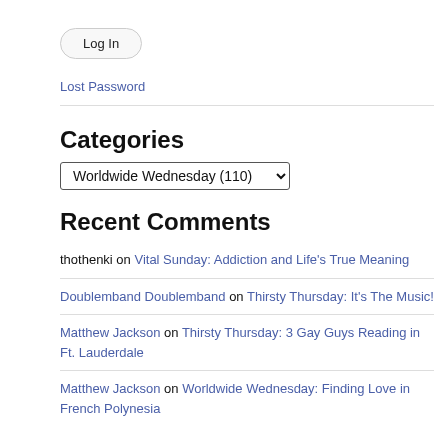Log In
Lost Password
Categories
Worldwide Wednesday (110)
Recent Comments
thothenki on Vital Sunday: Addiction and Life's True Meaning
Doublemband Doublemband on Thirsty Thursday: It's The Music!
Matthew Jackson on Thirsty Thursday: 3 Gay Guys Reading in Ft. Lauderdale
Matthew Jackson on Worldwide Wednesday: Finding Love in French Polynesia